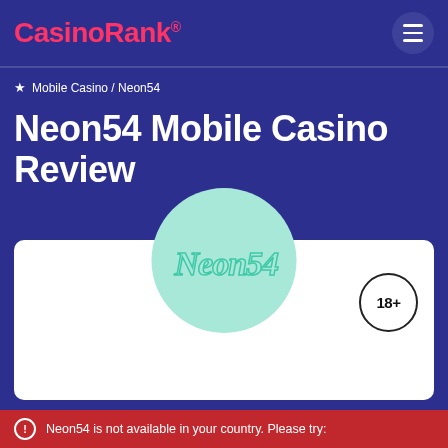CasinoRank®
Mobile Casino / Neon54
Neon54 Mobile Casino Review
[Figure (logo): Neon54 casino logo in teal cursive text on a mint green circle, with a white card background and an 18+ age badge on the right]
DEPOSIT METHODS
Neon54 is not available in your country. Please try: